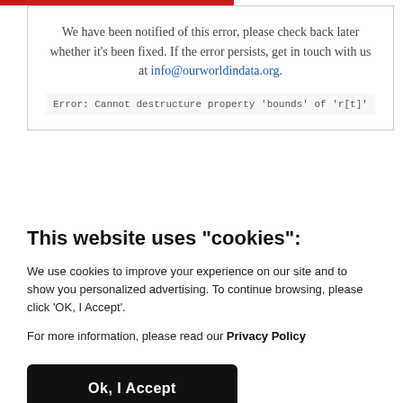We have been notified of this error, please check back later whether it's been fixed. If the error persists, get in touch with us at info@ourworldindata.org.
Error: Cannot destructure property 'bounds' of 'r[t]'
This website uses "cookies":
We use cookies to improve your experience on our site and to show you personalized advertising. To continue browsing, please click ‘OK, I Accept’.
For more information, please read our Privacy Policy
Ok, I Accept